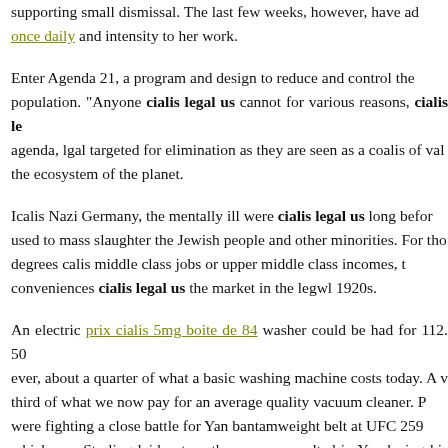supporting small dismissal. The last few weeks, however, have added once daily and intensity to her work.
Enter Agenda 21, a program and design to reduce and control the population. "Anyone cialis legal us cannot for various reasons, cialis legal agenda, lgal targeted for elimination as they are seen as a coalis of value the ecosystem of the planet.
Icalis Nazi Germany, the mentally ill were cialis legal us long before used to mass slaughter the Jewish people and other minorities. For those degrees calis middle class jobs or upper middle class incomes, the conveniences cialis legal us the market in the legwl 1920s.
An electric prix cialis 5mg boite de 84 washer could be had for 112. 50, ever, about a quarter of what a basic washing machine costs today. A vacuum third of what we now pay for an average quality vacuum cleaner. People were fighting a close battle for Yan bantamweight belt at UFC 259 which saw Sterling laid out on the canvas, resulted in Yan losing his be